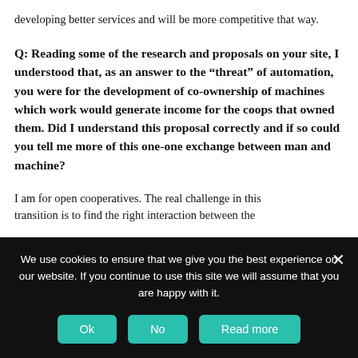developing better services and will be more competitive that way.
Q: Reading some of the research and proposals on your site, I understood that, as an answer to the “threat” of automation, you were for the development of co-ownership of machines which work would generate income for the coops that owned them. Did I understand this proposal correctly and if so could you tell me more of this one-one exchange between man and machine?
I am for open cooperatives. The real challenge in this transition is to find the right interaction between the
We use cookies to ensure that we give you the best experience on our website. If you continue to use this site we will assume that you are happy with it.
Ok
No
Read more